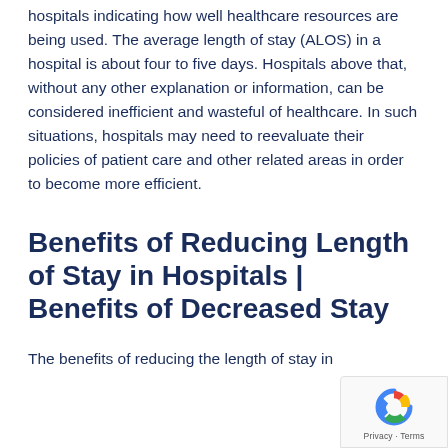hospitals indicating how well healthcare resources are being used.  The average length of stay (ALOS) in a hospital is about four to five days.  Hospitals above that, without any other explanation or information, can be considered inefficient and wasteful of healthcare.  In such situations, hospitals may need to reevaluate their policies of patient care and other related areas in order to become more efficient.
Benefits of Reducing Length of Stay in Hospitals | Benefits of Decreased Stay
The benefits of reducing the length of stay in